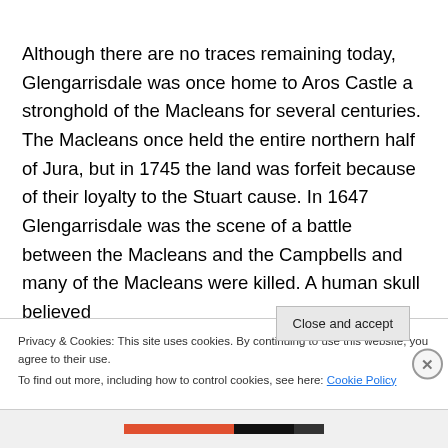Although there are no traces remaining today, Glengarrisdale was once home to Aros Castle a stronghold of the Macleans for several centuries. The Macleans once held the entire northern half of Jura, but in 1745 the land was forfeit because of their loyalty to the Stuart cause. In 1647 Glengarrisdale was the scene of a battle between the Macleans and the Campbells and many of the Macleans were killed. A human skull believed
Privacy & Cookies: This site uses cookies. By continuing to use this website, you agree to their use.
To find out more, including how to control cookies, see here: Cookie Policy